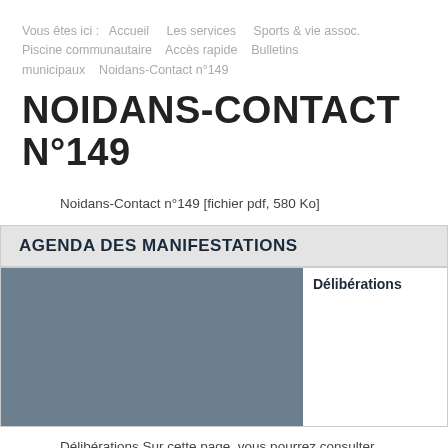Vous êtes ici : Accueil Les services Sports & vie assoc. Piscine communautaire Accès rapide Bulletins municipaux Noidans-Contact n°149
NOIDANS-CONTACT N°149
Noidans-Contact n°149 [fichier pdf, 580 Ko]
AGENDA DES MANIFESTATIONS
[Figure (photo): Grey/blue placeholder image for agenda des manifestations]
Délibérations
Délibérations Sur cette page, vous pourrez consulter les dernières d